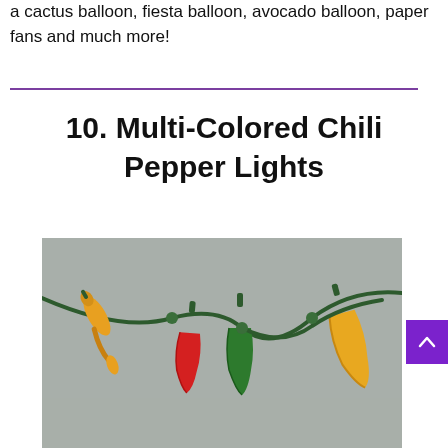a cactus balloon, fiesta balloon, avocado balloon, paper fans and much more!
10. Multi-Colored Chili Pepper Lights
[Figure (photo): Photo of multi-colored chili pepper string lights hanging on a green wire against a grey background. Peppers are yellow, red, green, and yellow/orange in color.]